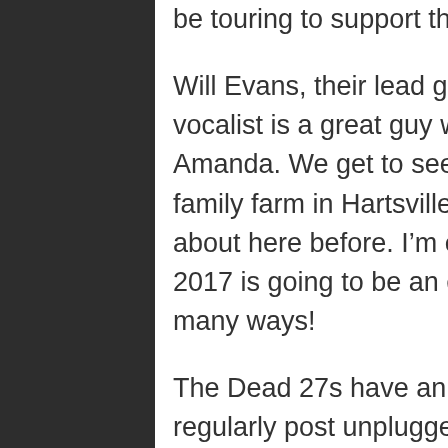be touring to support that album this year.
Will Evans, their lead guitarist, keyboardist and harmony vocalist is a great guy who is marrying my wife's cousin, Amanda. We get to see both of them up on the Chapman family farm in Hartsville, SC each year, which I've written about here before. I'm excited for both of them. I'm sure 2017 is going to be an epic year for Will and Amanda in many ways!
The Dead 27s have an active Facebook page where they regularly post unplugged acoustic music videos. I'm going to post a couple of their fantastic covers. Here's Prince's “Little Red Corvette” which they performed as a tribute shortly after the Purple One's passing. This is Will and lead singer, Trey Francis. I don't know too many people who could pull this song off...